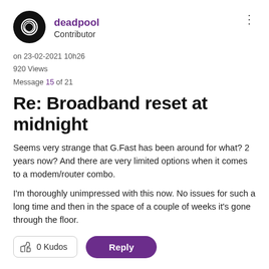[Figure (logo): Circular black avatar with swirling white logo for user deadpool]
deadpool
Contributor
on 23-02-2021 10h26
920 Views
Message 15 of 21
Re: Broadband reset at midnight
Seems very strange that G.Fast has been around for what? 2 years now? And there are very limited options when it comes to a modem/router combo.
I'm thoroughly unimpressed with this now. No issues for such a long time and then in the space of a couple of weeks it's gone through the floor.
0 Kudos
Reply